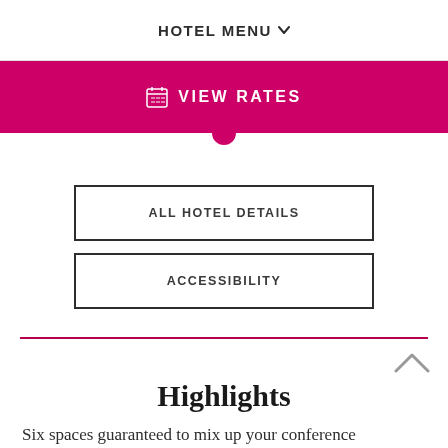HOTEL MENU
VIEW RATES
ALL HOTEL DETAILS
ACCESSIBILITY
Highlights
Six spaces guaranteed to mix up your conference